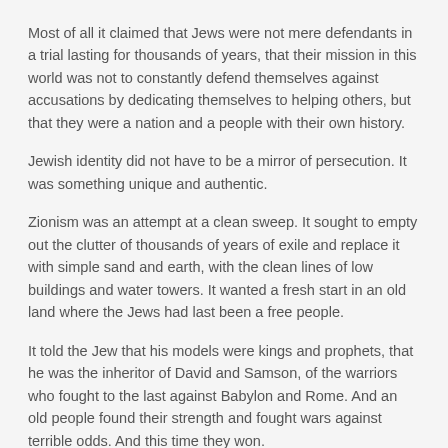Most of all it claimed that Jews were not mere defendants in a trial lasting for thousands of years, that their mission in this world was not to constantly defend themselves against accusations by dedicating themselves to helping others, but that they were a nation and a people with their own history.
Jewish identity did not have to be a mirror of persecution. It was something unique and authentic.
Zionism was an attempt at a clean sweep. It sought to empty out the clutter of thousands of years of exile and replace it with simple sand and earth, with the clean lines of low buildings and water towers. It wanted a fresh start in an old land where the Jews had last been a free people.
It told the Jew that his models were kings and prophets, that he was the inheritor of David and Samson, of the warriors who fought to the last against Babylon and Rome. And an old people found their strength and fought wars against terrible odds. And this time they won.